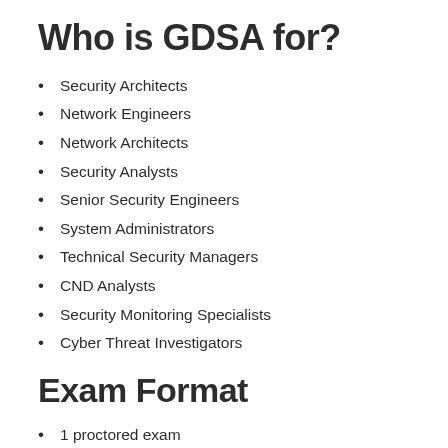Who is GDSA for?
Security Architects
Network Engineers
Network Architects
Security Analysts
Senior Security Engineers
System Administrators
Technical Security Managers
CND Analysts
Security Monitoring Specialists
Cyber Threat Investigators
Exam Format
1 proctored exam
75 questions